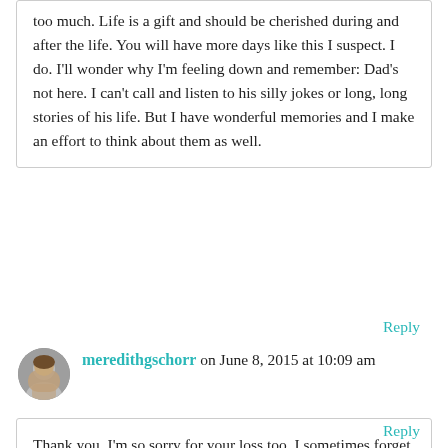too much. Life is a gift and should be cherished during and after the life. You will have more days like this I suspect. I do. I'll wonder why I'm feeling down and remember: Dad's not here. I can't call and listen to his silly jokes or long, long stories of his life. But I have wonderful memories and I make an effort to think about them as well.
Reply
meredithgschorr on June 8, 2015 at 10:09 am
Thank you. I'm so sorry for your loss too. I sometimes forget he's not here and I will go to send him a text and then I'll remember... It's amazing how this aspect of life is shared by everyone at one point or another.
Reply